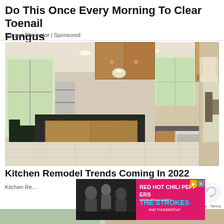Do This Once Every Morning To Clear Toenail Fungus
Fungus Eliminator | Sponsored
[Figure (photo): Kitchen interior photo showing a large island with dark granite countertop, wooden cabinets, stainless steel appliances, pendant lights, and tile flooring. Dining area visible in background.]
Kitchen Remodel Trends Coming In 2022
Kitchen Re...
[Figure (photo): Advertisement banner for Red Hot Chili Peppers, The Strokes and Thundercat concert/tour. Black and white band photo on left, pink/magenta background with bold text on right.]